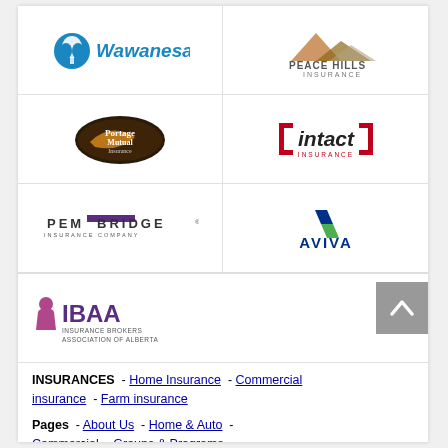[Figure (logo): Wawanesa insurance company logo]
[Figure (logo): Peace Hills Insurance company logo]
[Figure (logo): Portage Mutual Insurance company logo]
[Figure (logo): Intact Insurance company logo]
[Figure (logo): Pembridge Insurance Company logo]
[Figure (logo): Aviva insurance company logo]
[Figure (logo): IBAA Insurance Brokers Association of Alberta logo]
INSURANCES - Home Insurance - Commercial insurance - Farm insurance
Pages - About Us - Home & Auto - Commercial - Groups & Programs
Pages - Farm - Claim Centre - Locations